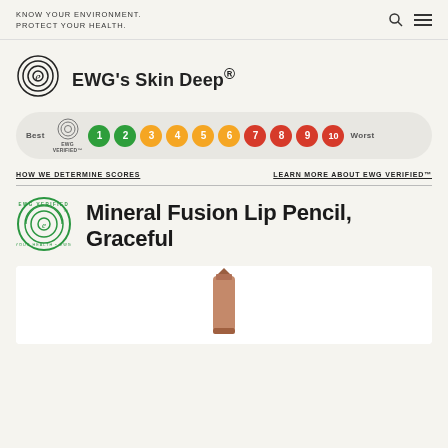KNOW YOUR ENVIRONMENT.
PROTECT YOUR HEALTH.
EWG's Skin Deep®
[Figure (infographic): EWG Skin Deep score rating scale from Best (EWG Verified) to Worst (10), with numbered bubbles: 1-2 green, 3-6 orange/yellow, 7-10 red]
HOW WE DETERMINE SCORES
LEARN MORE ABOUT EWG VERIFIED™
Mineral Fusion Lip Pencil, Graceful
[Figure (photo): Partial view of a lip pencil product against white background]